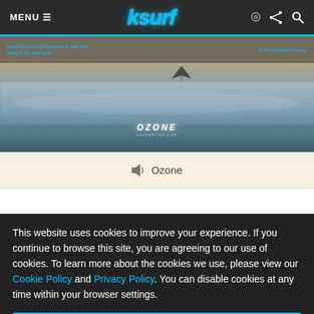MENU ≡  ksurf  [rss] [share] [search]
[Figure (photo): Hero image of kitesurfer over ocean waves with OZONE branding overlay. Navigation labels visible at top: feedback and improvements to take their riding to the next level / 5-line connection option]
📢 Ozone
This website uses cookies to improve your experience. If you continue to browse this site, you are agreeing to our use of cookies. To learn more about the cookies we use, please view our Cookie Policy and Privacy Policy. You can disable cookies at any time within your browser settings.
OK, Close